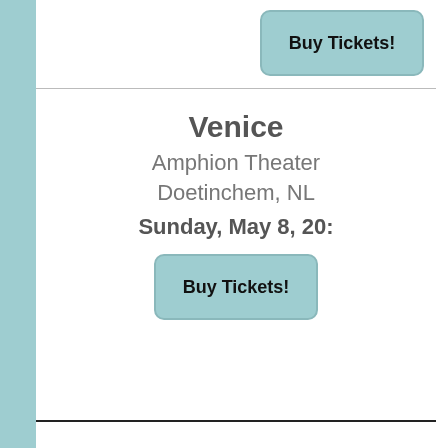[Figure (other): Teal/blue-green vertical sidebar bar on the left edge of the page]
Buy Tickets!
Venice
Amphion Theater
Doetinchem, NL
Sunday, May 8, 20:
Buy Tickets!